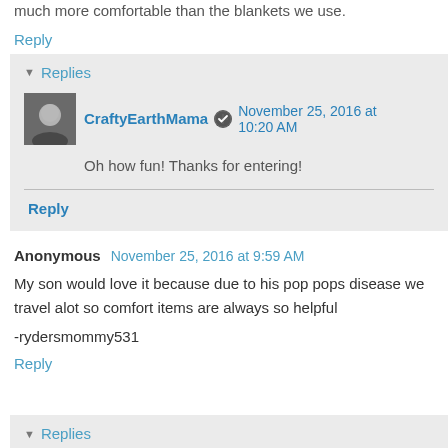much more comfortable than the blankets we use.
Reply
Replies
CraftyEarthMama  November 25, 2016 at 10:20 AM
Oh how fun! Thanks for entering!
Reply
Anonymous  November 25, 2016 at 9:59 AM
My son would love it because due to his pop pops disease we travel alot so comfort items are always so helpful
-rydersmommy531
Reply
Replies